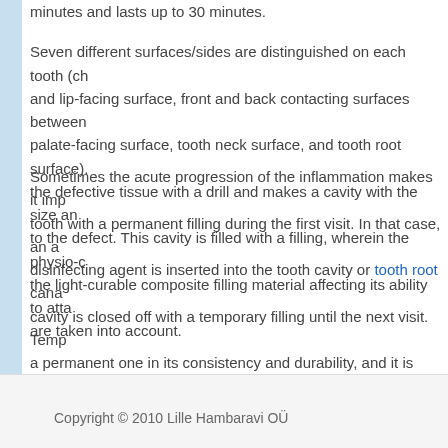minutes and lasts up to 30 minutes.
Seven different surfaces/sides are distinguished on each tooth (ch... and lip-facing surface, front and back contacting surfaces between... palate-facing surface, tooth neck surface, and tooth root surface). The defective tissue with a drill and makes a cavity with the size an... to the defect. This cavity is filled with a filling, wherein the physio-c... the light-curable composite filling material affecting its ability to atta... are taken into account.
Sometimes the acute progression of the inflammation makes it imp... tooth with a permanent filling during the first visit. In that case, an a... disinfecting agent is inserted into the tooth cavity or tooth root cana... cavity is closed off with a temporary filling until the next visit. Temp... a permanent one in its consistency and durability, and it is meant f... a cavity. Next, a time for the next visit is agreed upon to finish the ... filling procedure.
Copyright © 2010 Lille Hambaravi OÜ